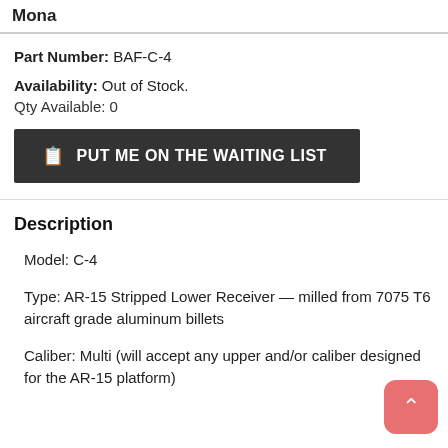Mona
Part Number: BAF-C-4
Availability: Out of Stock.
Qty Available: 0
PUT ME ON THE WAITING LIST
Description
Model: C-4
Type: AR-15 Stripped Lower Receiver — milled from 7075 T6 aircraft grade aluminum billets
Caliber: Multi (will accept any upper and/or caliber designed for the AR-15 platform)